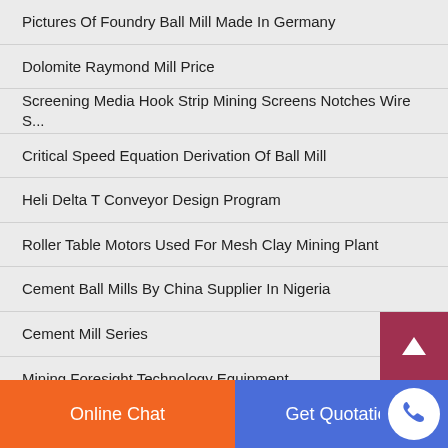Pictures Of Foundry Ball Mill Made In Germany
Dolomite Raymond Mill Price
Screening Media Hook Strip Mining Screens Notches Wire S...
Critical Speed Equation Derivation Of Ball Mill
Heli Delta T Conveyor Design Program
Roller Table Motors Used For Mesh Clay Mining Plant
Cement Ball Mills By China Supplier In Nigeria
Cement Mill Series
Mining Foresight Technology Equipment
Online Chat | Get Quotation